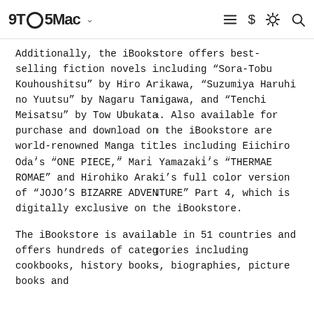9TO5Mac
Additionally, the iBookstore offers best-selling fiction novels including “Sora-Tobu Kouhoushitsu” by Hiro Arikawa, “Suzumiya Haruhi no Yuutsu” by Nagaru Tanigawa, and “Tenchi Meisatsu” by Tow Ubukata. Also available for purchase and download on the iBookstore are world-renowned Manga titles including Eiichiro Oda’s “ONE PIECE,” Mari Yamazaki’s “THERMAE ROMAE” and Hirohiko Araki’s full color version of “JOJO’S BIZARRE ADVENTURE” Part 4, which is digitally exclusive on the iBookstore.
The iBookstore is available in 51 countries and offers hundreds of categories including cookbooks, history books, biographies, picture books and